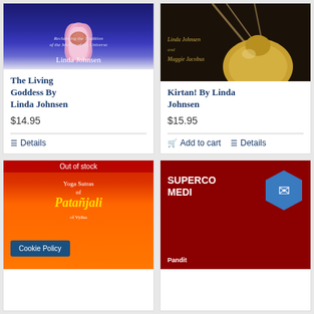[Figure (photo): Book cover: The Living Goddess by Linda Johnsen — blue cosmic background with lotus flower, subtitle 'Reclaiming the Tradition of the Mother of the Universe']
The Living Goddess by Linda Johnsen
$14.95
Details
[Figure (photo): Book cover: Kirtan! by Linda Johnsen and Maggie Jacobus — dark background with golden bell and rope]
Kirtan! by Linda Johnsen
$15.95
Add to cart
Details
[Figure (photo): Book cover: Yoga Sutras of Patanjali — orange/red background with stylized text, 'Out of stock' banner, and 'Cookie Policy' overlay]
[Figure (photo): Book cover: Superconsciousness Meditation by Pandit — dark red background with white bold text and blue hexagon icon with envelope]